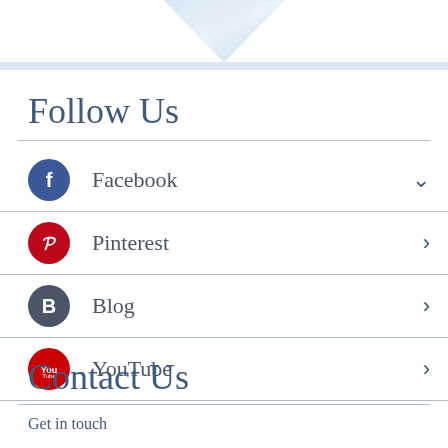[Figure (illustration): Diamond/gem shape pointing downward, light blue gradient, at top center of page]
Follow Us
Facebook
Pinterest
Blog
YouTube
Contact Us
Get in touch